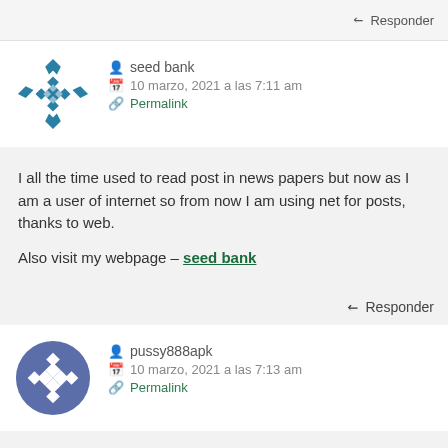Responder
seed bank
10 marzo, 2021 a las 7:11 am
Permalink
I all the time used to read post in news papers but now as I am a user of internet so from now I am using net for posts, thanks to web.

Also visit my webpage – seed bank
Responder
pussy888apk
10 marzo, 2021 a las 7:13 am
Permalink
Excellent beat ! I would like to apprentice whilst you amend your web site, how could i subscribe for a blog web site? The account helped me a acceptable deal. I were tiny